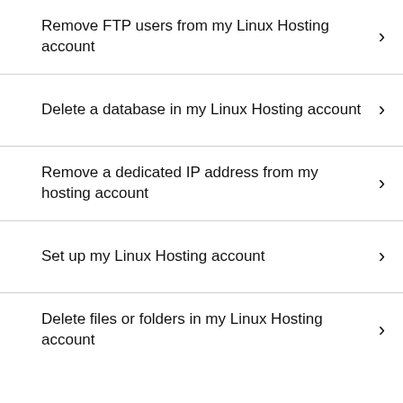Remove FTP users from my Linux Hosting account
Delete a database in my Linux Hosting account
Remove a dedicated IP address from my hosting account
Set up my Linux Hosting account
Delete files or folders in my Linux Hosting account